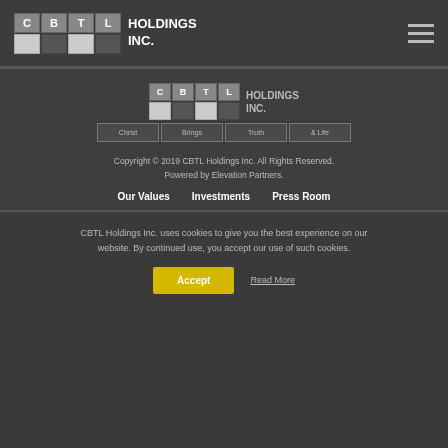[Figure (logo): CBTL Holdings Inc. logo in header with grid of letters C, B, T, L and two white boxes below]
[Figure (logo): CBTL Holdings Inc. footer logo with tagline cells: Christ, Brings, Truth, & Life]
Copyright © 2019 CBTL Holdings Inc. All Rights Reserved. Powered by Elevation Partners.
Our Values
Investments
Press Room
CBTL Holdings Inc. uses cookies to give you the best experience on our website. By continued use, you accept our use of such cookies.